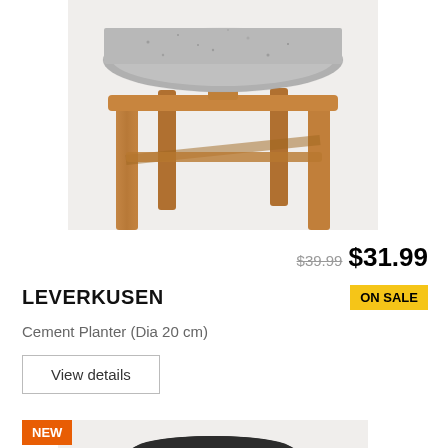[Figure (photo): Top view of a cement planter with gray speckled top on a wooden stand with four legs, partially cropped at top]
$39.99 $31.99
LEVERKUSEN
ON SALE
Cement Planter (Dia 20 cm)
View details
NEW
[Figure (photo): Black metal planter with embossed pebble/stone pattern, sitting on a wooden four-leg stand, partially cropped at bottom]